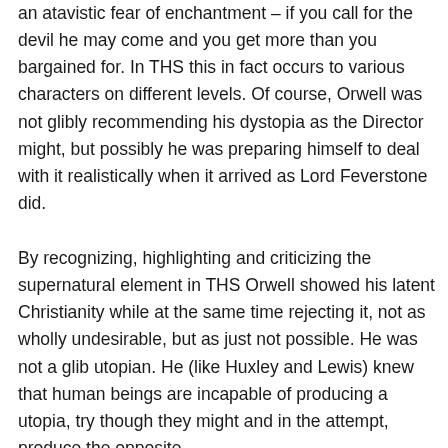an atavistic fear of enchantment – if you call for the devil he may come and you get more than you bargained for. In THS this in fact occurs to various characters on different levels. Of course, Orwell was not glibly recommending his dystopia as the Director might, but possibly he was preparing himself to deal with it realistically when it arrived as Lord Feverstone did.
By recognizing, highlighting and criticizing the supernatural element in THS Orwell showed his latent Christianity while at the same time rejecting it, not as wholly undesirable, but as just not possible. He was not a glib utopian. He (like Huxley and Lewis) knew that human beings are incapable of producing a utopia, try though they might and in the attempt, produce the opposite.